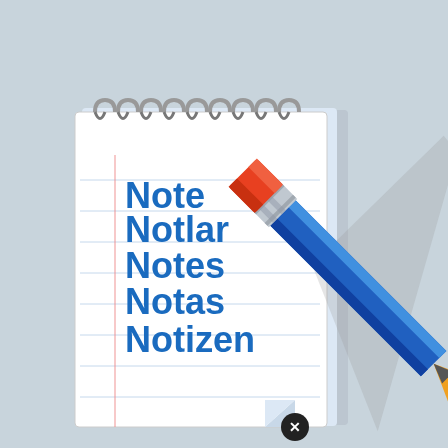[Figure (illustration): A spiral-bound notepad with blue ruled lines showing the words Note, Notlar, Notes, Notas, Notizan in blue text, with a blue pencil with orange eraser leaning diagonally across the notepad, and a small black circle with X at the bottom center of the notepad.]